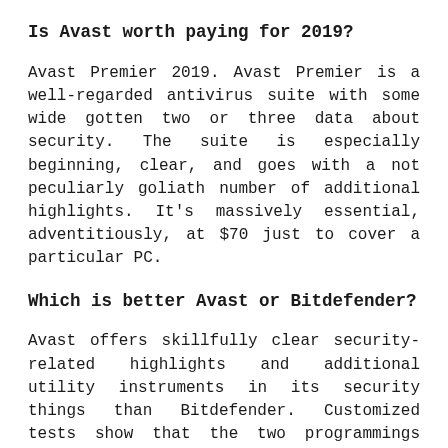Is Avast worth paying for 2019?
Avast Premier 2019. Avast Premier is a well-regarded antivirus suite with some wide gotten two or three data about security. The suite is especially beginning, clear, and goes with a not peculiarly goliath number of additional highlights. It's massively essential, adventitiously, at $70 just to cover a particular PC.
Which is better Avast or Bitdefender?
Avast offers skillfully clear security-related highlights and additional utility instruments in its security things than Bitdefender. Customized tests show that the two programmings give shocking